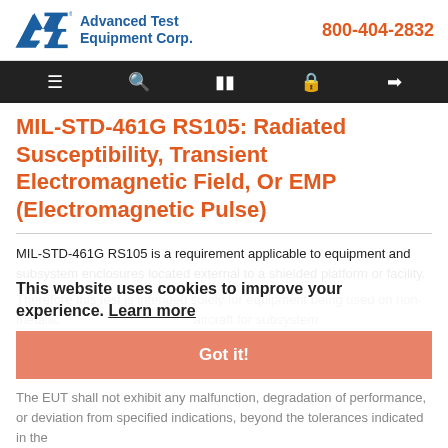Advanced Test Equipment Corp. | 800-404-2832
MIL-STD-461G RS105: Radiated Susceptibility, Transient Electromagnetic Field, Or EMP (Electromagnetic Pulse)
MIL-STD-461G RS105 is a requirement applicable to equipment and subsystem enclosures located external to a shielded platform or facility.
Therefore this test is intended solely for equipment being used on non-metallic... aircraft for subsystem equipment... systems located in an external installation.
This website uses cookies to improve your experience. Learn more
Got it!
The EUT shall not exhibit any malfunction, degradation of performance, or deviation from specified indications, beyond the tolerances indicated in the